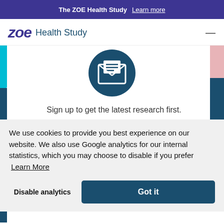The ZOE Health Study  Learn more
zoe Health Study
[Figure (illustration): Dark teal circle with white open envelope icon containing document lines]
Sign up to get the latest research first.
We use cookies to provide you best experience on our website. We also use Google analytics for our internal statistics, which you may choose to disable if you prefer  Learn More
Disable analytics
Got it